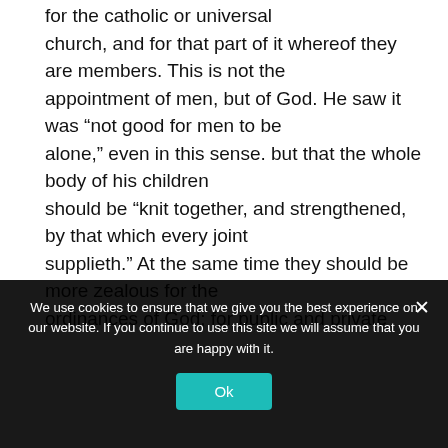for the catholic or universal church, and for that part of it whereof they are members. This is not the appointment of men, but of God. He saw it was “not good for men to be alone,” even in this sense. but that the whole body of his children should be “knit together, and strengthened, by that which every joint supplieth.” At the same time they should be more zealous for the ordinances of God; for public and private
We use cookies to ensure that we give you the best experience on our website. If you continue to use this site we will assume that you are happy with it.